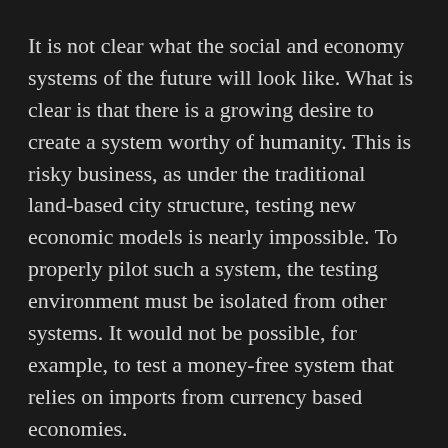It is not clear what the social and economy systems of the future will look like. What is clear is that there is a growing desire to create a system worthy of humanity. This is risky business, as under the traditional land-based city structure, testing new economic models is nearly impossible. To properly pilot such a system, the testing environment must be isolated from other systems. It would not be possible, for example, to test a money-free system that relies on imports from currency based economies.
Aquarius and all other colonies, by their very nature, are perfectly suited to act as self-